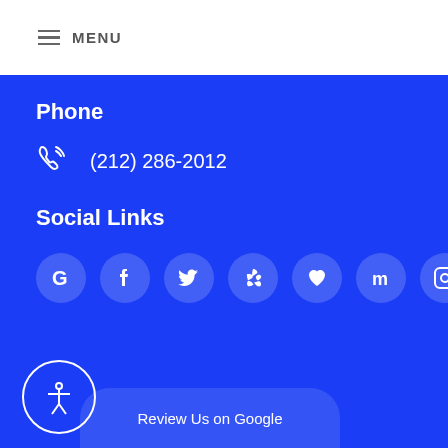MENU
Phone
(212) 286-2012
Social Links
[Figure (infographic): Row of social media icons: Google, Facebook, Twitter, Yelp, Withlove/Zocdoc, Medallia/m, Instagram]
Review Us on Google